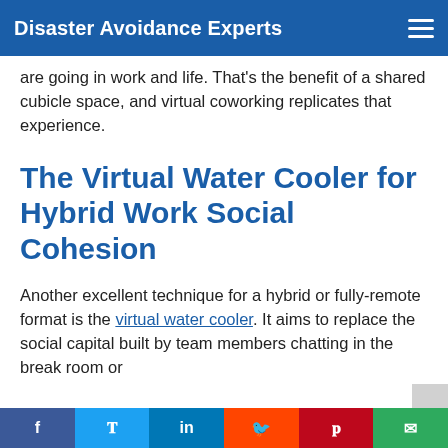Disaster Avoidance Experts
are going in work and life. That's the benefit of a shared cubicle space, and virtual coworking replicates that experience.
The Virtual Water Cooler for Hybrid Work Social Cohesion
Another excellent technique for a hybrid or fully-remote format is the virtual water cooler. It aims to replace the social capital built by team members chatting in the break room or